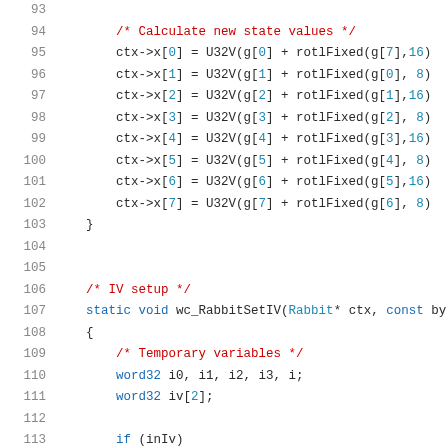Source code lines 93-113 from a C implementation of the Rabbit cipher (WolfSSL/WolfCrypt). Shows wc_RabbitSetX and start of wc_RabbitSetIV functions.